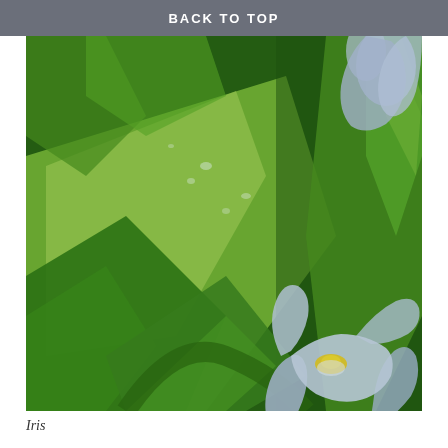BACK TO TOP
[Figure (photo): Close-up photograph of iris plant with broad green leaves covered in water droplets, and light purple/lavender iris flowers with yellow centers visible on the right side of the image.]
Iris